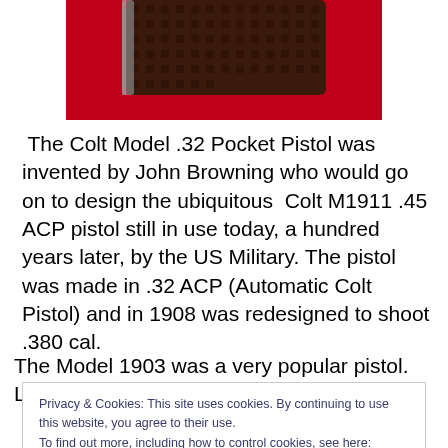[Figure (photo): Close-up photo of a dark brown checkered pistol grip on a red background, viewed from above/side angle.]
The Colt Model .32 Pocket Pistol was invented by John Browning who would go on to design the ubiquitous Colt M1911 .45 ACP pistol still in use today, a hundred years later, by the US Military. The pistol was made in .32 ACP (Automatic Colt Pistol) and in 1908 was redesigned to shoot .380 cal.
The Model 1903 was a very popular pistol. Light (33 oz.),
Privacy & Cookies: This site uses cookies. By continuing to use this website, you agree to their use.
To find out more, including how to control cookies, see here: Cookie Policy